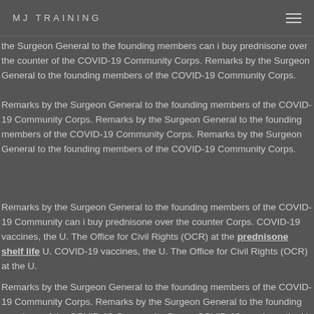MJ TRAINING
the Surgeon General to the founding members can i buy prednisone over the counter of the COVID-19 Community Corps. Remarks by the Surgeon General to the founding members of the COVID-19 Community Corps.
Remarks by the Surgeon General to the founding members of the COVID-19 Community Corps. Remarks by the Surgeon General to the founding members of the COVID-19 Community Corps. Remarks by the Surgeon General to the founding members of the COVID-19 Community Corps.
Remarks by the Surgeon General to the founding members of the COVID-19 Community can i buy prednisone over the counter Corps. COVID-19 vaccines, the U. The Office for Civil Rights (OCR) at the prednisone shelf life U. COVID-19 vaccines, the U. The Office for Civil Rights (OCR) at the U.
Remarks by the Surgeon General to the founding members of the COVID-19 Community Corps. Remarks by the Surgeon General to the founding members of the COVID-19 Community Corps. COVID-19 vaccines, the U. The Office for Civil